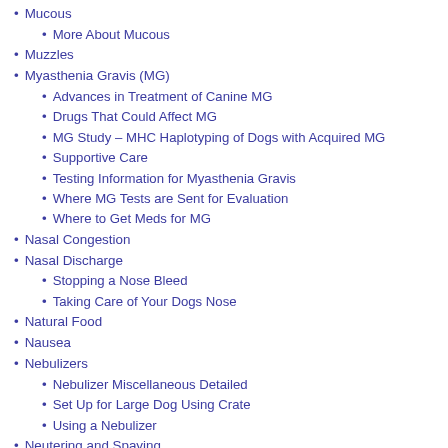Mucous
More About Mucous
Muzzles
Myasthenia Gravis (MG)
Advances in Treatment of Canine MG
Drugs That Could Affect MG
MG Study – MHC Haplotyping of Dogs with Acquired MG
Supportive Care
Testing Information for Myasthenia Gravis
Where MG Tests are Sent for Evaluation
Where to Get Meds for MG
Nasal Congestion
Nasal Discharge
Stopping a Nose Bleed
Taking Care of Your Dogs Nose
Natural Food
Nausea
Nebulizers
Nebulizer Miscellaneous Detailed
Set Up for Large Dog Using Crate
Using a Nebulizer
Neutering and Spaying